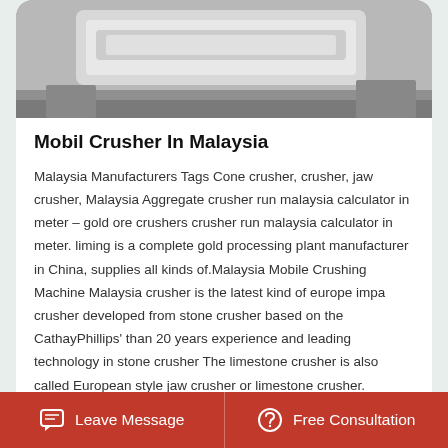[Figure (photo): Grayscale photo of industrial machinery, likely a crusher or conveyor machine in a factory setting]
Mobil Crusher In Malaysia
Malaysia Manufacturers Tags Cone crusher, crusher, jaw crusher, Malaysia Aggregate crusher run malaysia calculator in meter – gold ore crushers crusher run malaysia calculator in meter. liming is a complete gold processing plant manufacturer in China, supplies all kinds of.Malaysia Mobile Crushing Machine Malaysia crusher is the latest kind of europe impact crusher developed from stone crusher based on the CathayPhillips' than 20 years experience and leading technology in stone crusher The limestone crusher is also called European style jaw crusher or limestone crusher.
[Figure (photo): Partial view of industrial machinery, bottom card, cropped]
Leave Message
Free Consultation